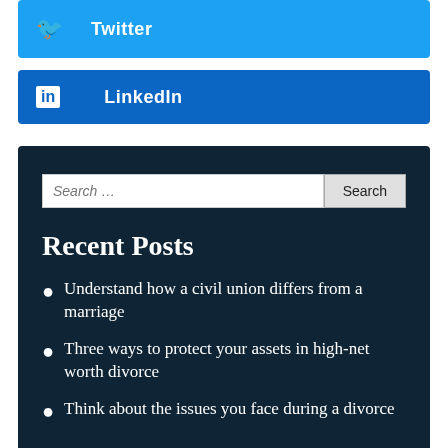Twitter
LinkedIn
Recent Posts
Understand how a civil union differs from a marriage
Three ways to protect your assets in high-net worth divorce
Think about the issues you face during a divorce